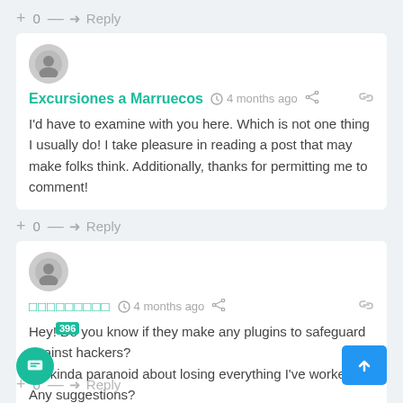+ 0 — → Reply
[Figure (illustration): Grey circular user avatar icon]
Excursiones a Marruecos  4 months ago
I'd have to examine with you here. Which is not one thing I usually do! I take pleasure in reading a post that may make folks think. Additionally, thanks for permitting me to comment!
+ 0 — → Reply
[Figure (illustration): Grey circular user avatar icon]
□□□□□□□□□  4 months ago
Hey! Do you know if they make any plugins to safeguard against hackers? I'm kinda paranoid about losing everything I've worked hard on. Any suggestions?
+ 0 — → Reply